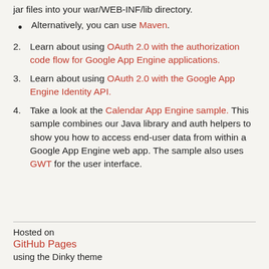jar files into your war/WEB-INF/lib directory.
Alternatively, you can use Maven.
2. Learn about using OAuth 2.0 with the authorization code flow for Google App Engine applications.
3. Learn about using OAuth 2.0 with the Google App Engine Identity API.
4. Take a look at the Calendar App Engine sample. This sample combines our Java library and auth helpers to show you how to access end-user data from within a Google App Engine web app. The sample also uses GWT for the user interface.
Hosted on
GitHub Pages
using the Dinky theme